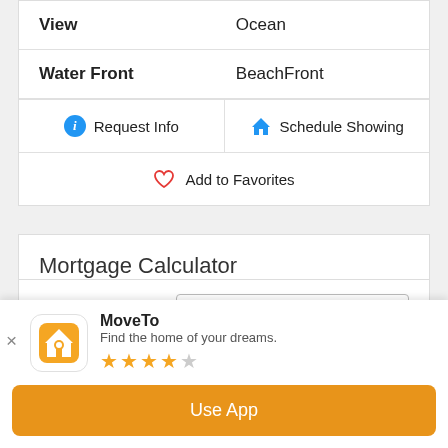| Property | Value |
| --- | --- |
| View | Ocean |
| Water Front | BeachFront |
Request Info
Schedule Showing
Add to Favorites
Mortgage Calculator
Amount of Loan: 12800000
MoveTo
Find the home of your dreams.
★★★★☆
Use App